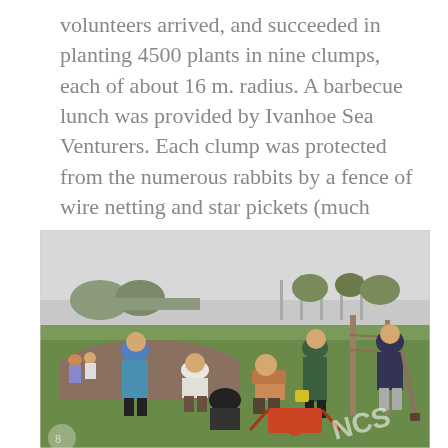volunteers arrived, and succeeded in planting 4500 plants in nine clumps, each of about 16 m. radius. A barbecue lunch was provided by Ivanhoe Sea Venturers. Each clump was protected from the numerous rabbits by a fence of wire netting and star pickets (much more economical than individual tree-guards.)
[Figure (photo): Outdoor photograph showing a group of volunteers planting trees in an open grassy field. Several people are bent over working in the soil, one person in a blue jacket stands watching, others are scattered across the background. Fence posts are visible in the mid-ground. A wheelbarrow is visible in the foreground center. A watermark 'NCS' appears in the lower right corner.]